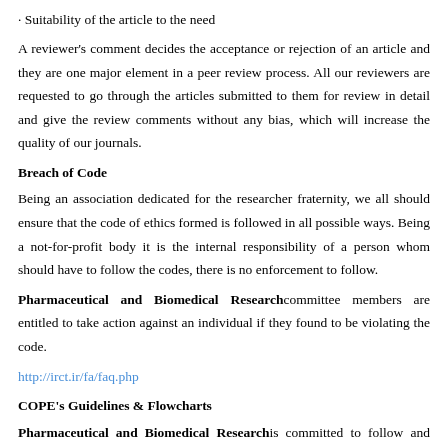· Suitability of the article to the need
A reviewer's comment decides the acceptance or rejection of an article and they are one major element in a peer review process. All our reviewers are requested to go through the articles submitted to them for review in detail and give the review comments without any bias, which will increase the quality of our journals.
Breach of Code
Being an association dedicated for the researcher fraternity, we all should ensure that the code of ethics formed is followed in all possible ways. Being a not-for-profit body it is the internal responsibility of a person whom should have to follow the codes, there is no enforcement to follow.
Pharmaceutical and Biomedical Research committee members are entitled to take action against an individual if they found to be violating the code.
http://irct.ir/fa/faq.php
COPE's Guidelines & Flowcharts
Pharmaceutical and Biomedical Research is committed to follow and apply guidelines and flowcharts of Committee on Publication Ethics in its reviewing and publishing process and issues. For more information, please click here.